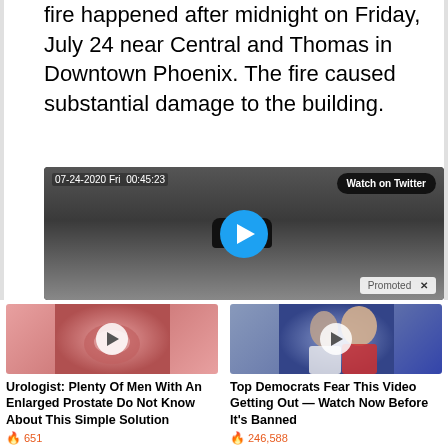fire happened after midnight on Friday, July 24 near Central and Thomas in Downtown Phoenix. The fire caused substantial damage to the building.
[Figure (screenshot): Black and white security camera footage showing a car in a parking area. Timestamp reads 07-24-2020 Fri 00:45:23. A 'Watch on Twitter' button is visible in the top right. A blue play button circle is centered. A 'Promoted X' tag is in the bottom right.]
[Figure (photo): Medical illustration of prostate anatomy with a play button overlay, advertising a urologist video.]
Urologist: Plenty Of Men With An Enlarged Prostate Do Not Know About This Simple Solution
651
[Figure (photo): Photo of Melania and Donald Trump with a play button overlay, advertising a Democrats video.]
Top Democrats Fear This Video Getting Out — Watch Now Before It's Banned
246,588